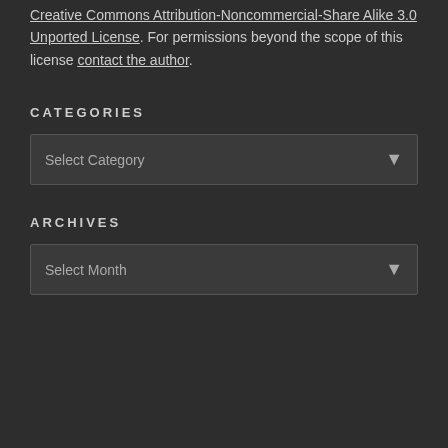Creative Commons Attribution-Noncommercial-Share Alike 3.0 Unported License. For permissions beyond the scope of this license contact the author.
CATEGORIES
[Figure (screenshot): Dropdown selector labeled 'Select Category' on a dark background]
ARCHIVES
[Figure (screenshot): Dropdown selector labeled 'Select Month' on a dark background]